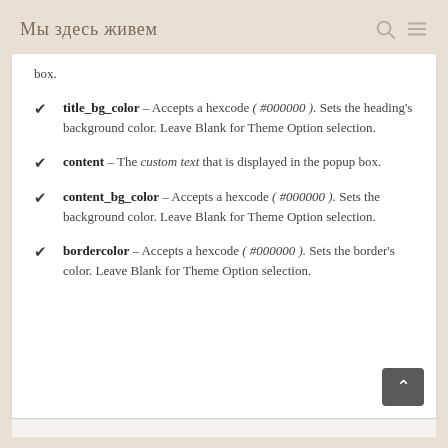Мы здесь живем
box.
title_bg_color – Accepts a hexcode ( #000000 ). Sets the heading's background color. Leave Blank for Theme Option selection.
content – The custom text that is displayed in the popup box.
content_bg_color – Accepts a hexcode ( #000000 ). Sets the background color. Leave Blank for Theme Option selection.
bordercolor – Accepts a hexcode ( #000000 ). Sets the border's color. Leave Blank for Theme Option selection.